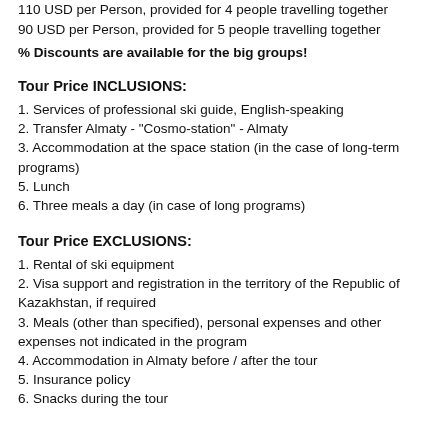110 USD per Person, provided for 4 people travelling together
90 USD per Person, provided for 5 people travelling together
% Discounts are available for the big groups!
Tour Price INCLUSIONS:
1. Services of professional ski guide, English-speaking
2. Transfer Almaty - "Cosmo-station" - Almaty
3. Accommodation at the space station (in the case of long-term programs)
5. Lunch
6. Three meals a day (in case of long programs)
Tour Price EXCLUSIONS:
1. Rental of ski equipment
2. Visa support and registration in the territory of the Republic of Kazakhstan, if required
3. Meals (other than specified), personal expenses and other expenses not indicated in the program
4. Accommodation in Almaty before / after the tour
5. Insurance policy
6. Snacks during the tour